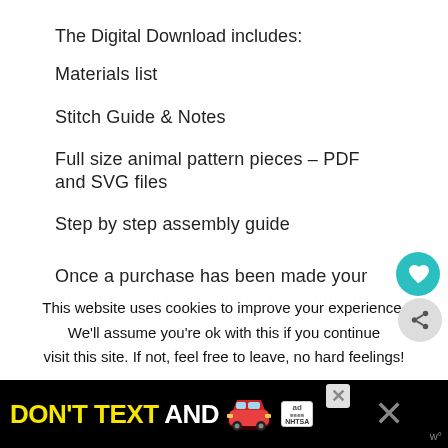The Digital Download includes:
Materials list
Stitch Guide & Notes
Full size animal pattern pieces – PDF and SVG files
Step by step assembly guide
Once a purchase has been made your PDF files will be available to download...
This website uses cookies to improve your experience. We'll assume you're ok with this if you continue visit this site. If not, feel free to leave, no hard feelings!
[Figure (infographic): DON'T TEXT AND [car emoji] advertisement banner with ad badge and NHTSA logo on black background]